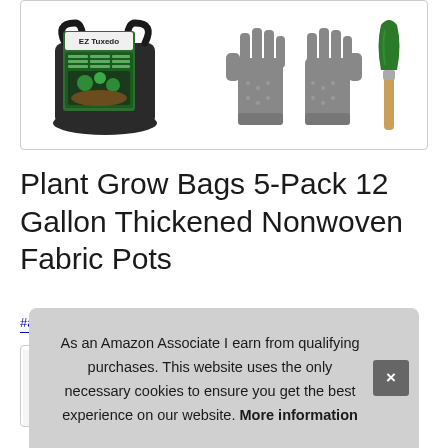[Figure (photo): Product image showing a black fabric grow bag with EZ Tuxedo branding on left, and gray gardening gloves with a green hand trowel on right, inside a rounded border box.]
Plant Grow Bags 5-Pack 12 Gallon Thickened Nonwoven Fabric Pots
#ad
[Figure (photo): Partial thumbnail of a second product image showing a black grow bag with green plants, partially visible at bottom left.]
As an Amazon Associate I earn from qualifying purchases. This website uses the only necessary cookies to ensure you get the best experience on our website. More information